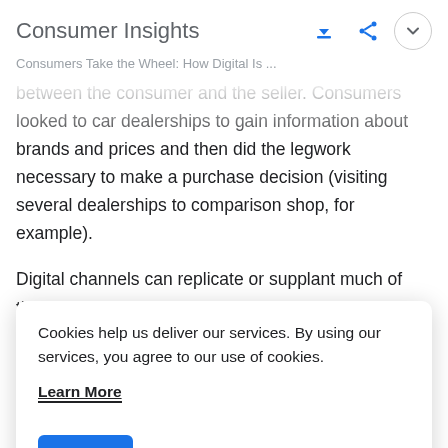Consumer Insights
Consumers Take the Wheel: How Digital Is ...
between the consumer and the seller. Consumers looked to car dealerships to gain information about brands and prices and then did the legwork necessary to make a purchase decision (visiting several dealerships to comparison shop, for example).
Digital channels can replicate or supplant much of that purchase process, however. Research can be done faster
Cookies help us deliver our services. By using our services, you agree to our use of cookies.
Learn More
Got It
In fact, the survey showed that 90% of car buyers turn to